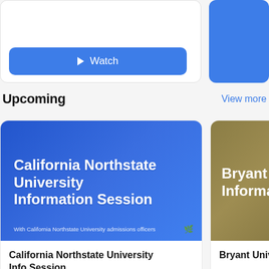[Figure (screenshot): Watch button on a white card - blue rounded rectangle with play icon and 'Watch' text]
[Figure (screenshot): Partially visible blue button on right card (cropped)]
Upcoming
View more
[Figure (illustration): California Northstate University Information Session banner - blue background with white bold text and admissions officers subtitle]
California Northstate University Info Session
Monday, August 22, 9:00 pm CUT
[Figure (illustration): Bryant University Information Session banner - tan/brown background with white bold text, partially visible]
Bryant Univers...
Tuesday, Augus...
30 mins